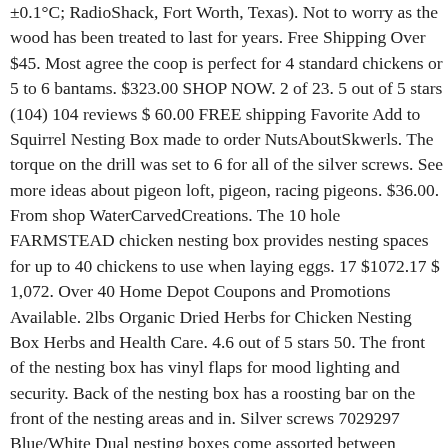±0.1°C; RadioShack, Fort Worth, Texas). Not to worry as the wood has been treated to last for years. Free Shipping Over $45. Most agree the coop is perfect for 4 standard chickens or 5 to 6 bantams. $323.00 SHOP NOW. 2 of 23. 5 out of 5 stars (104) 104 reviews $ 60.00 FREE shipping Favorite Add to Squirrel Nesting Box made to order NutsAboutSkwerls. The torque on the drill was set to 6 for all of the silver screws. See more ideas about pigeon loft, pigeon, racing pigeons. $36.00. From shop WaterCarvedCreations. The 10 hole FARMSTEAD chicken nesting box provides nesting spaces for up to 40 chickens to use when laying eggs. 17 $1072.17 $ 1,072. Over 40 Home Depot Coupons and Promotions Available. 2lbs Organic Dried Herbs for Chicken Nesting Box Herbs and Health Care. 4.6 out of 5 stars 50. The front of the nesting box has vinyl flaps for mood lighting and security. Back of the nesting box has a roosting bar on the front of the nesting areas and in. Silver screws 7029297 Blue/White Dual nesting boxes come assorted between